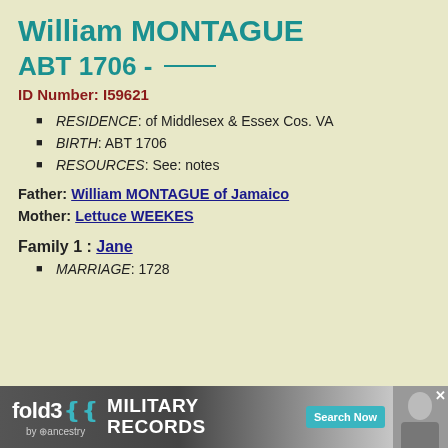William MONTAGUE
ABT 1706 - ____
ID Number: I59621
RESIDENCE: of Middlesex & Essex Cos. VA
BIRTH: ABT 1706
RESOURCES: See: notes
Father: William MONTAGUE of Jamaico
Mother: Lettuce WEEKES
Family 1 : Jane
MARRIAGE: 1728
[Figure (other): Fold3 by Ancestry military records advertisement banner]